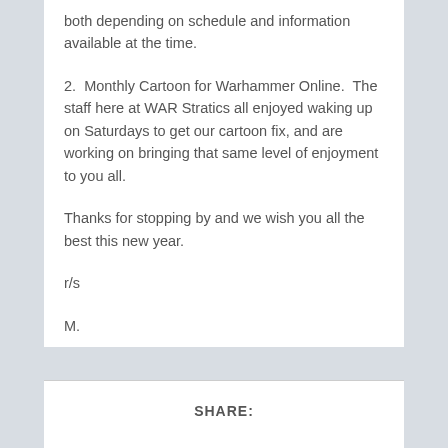both depending on schedule and information available at the time.
2.  Monthly Cartoon for Warhammer Online.  The staff here at WAR Stratics all enjoyed waking up on Saturdays to get our cartoon fix, and are working on bringing that same level of enjoyment to you all.
Thanks for stopping by and we wish you all the best this new year.
r/s
M.
SHARE: